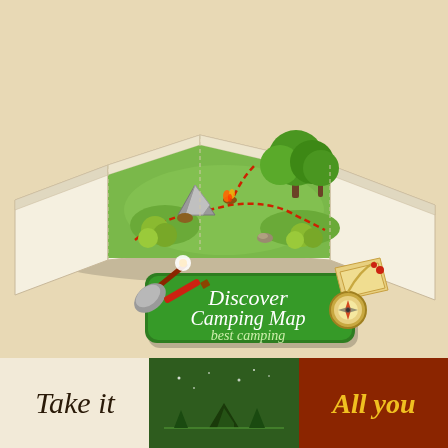[Figure (illustration): A 3D pop-up style camping map illustration showing a folded paper map with green terrain, trees, tent, campfire, bushes, and a dashed red trail path. Below the map is a green banner sign reading 'Discover Camping Map best camping' with a hatchet/axe on the left and compass/map tools on the right. Background is beige/tan.]
[Figure (illustration): Bottom strip showing three partial illustrations: left panel on cream background shows cursive text 'Take it', middle panel on dark green shows a small camping/tent scene with stars, right panel on dark red/brown shows cursive text 'All you' in yellow.]